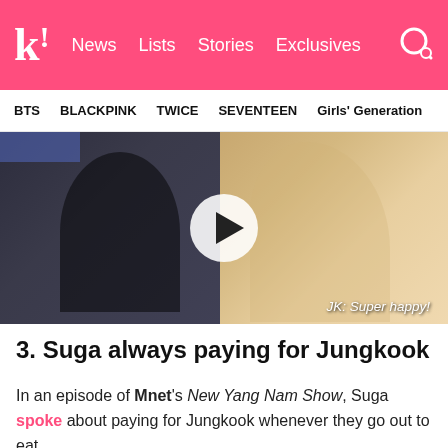k! News Lists Stories Exclusives
BTS BLACKPINK TWICE SEVENTEEN Girls' Generation
[Figure (photo): Video thumbnail showing two BTS members (Jungkook in black and RM with blonde hair) with a play button overlay and subtitle 'JK: Super happy!']
3. Suga always paying for Jungkook
In an episode of Mnet's New Yang Nam Show, Suga spoke about paying for Jungkook whenever they go out to eat.